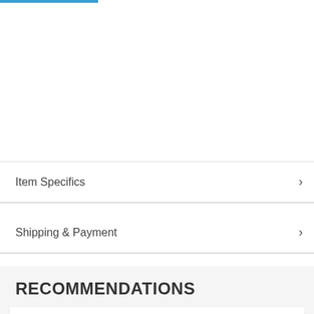Item Specifics
Shipping & Payment
RECOMMENDATIONS
Korean fashion rainbow shoulder strap school bag for teenagers girls Children's waterproof backpacks...